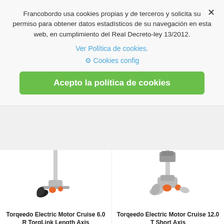Francobordo usa cookies propias y de terceros y solicita su permiso para obtener datos estadísticos de su navegación en esta web, en cumplimiento del Real Decreto-ley 13/2012.
Ver Política de cookies.
⚙ Cookies config
Acepto la política de cookies
[Figure (photo): Torqeedo Electric Motor Cruise 6.0 R TorqLink Length Axis product photo]
Torqeedo Electric Motor Cruise 6.0 R TorqLink Length Axis
★★★★★
4.369,00€
buy
Delivery in 7-10 days
TAX incl.
[Figure (photo): Torqeedo Electric Motor Cruise 12.0 T Short Axis product photo]
Torqeedo Electric Motor Cruise 12.0 T Short Axis
★★★★★
10.369,00€
buy
Delivery in 7-10 days
TAX incl.